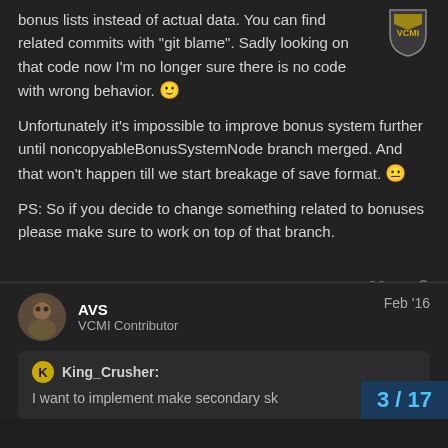[Figure (logo): VCMI shield logo in top right corner]
bonus lists instead of actual data. You can find related commits with "git blame". Sadly looking on that code now I'm no longer sure there is no code with wrong behavior. 🙂
Unfortunately it's impossible to improve bonus system further until noncopyableBonusSystemNode branch merged. And that won't happen till we start breakage of save format. 😐
PS: So if you decide to change something related to bonuses please make sure to work on top of that branch.
AVS
VCMI Contributor
Feb '16
King_Crusher:
I want to implement make secondary sk